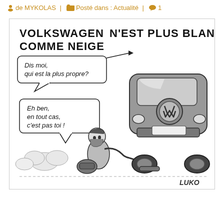de MYKOLAS | Posté dans : Actualité | 1
[Figure (illustration): A French editorial cartoon by 'Luko' about the Volkswagen emissions scandal. Title reads 'VOLKSWAGEN N'EST PLUS BLANC COMME NEIGE' (Volkswagen is no longer white as snow). Shows a man crouching behind a Volkswagen car holding a tube to the exhaust pipe. Two speech bubbles: first says 'DIS MOI, QUI EST LA PLUS PROPRE?' (Tell me, who is the cleanest?) and second says 'EH BEN, EN TOUT CAS, C'EST PAS TOI!' (Well, in any case, it's not you!). Black and white ink drawing style. Signed 'LUKO' in bottom right.]